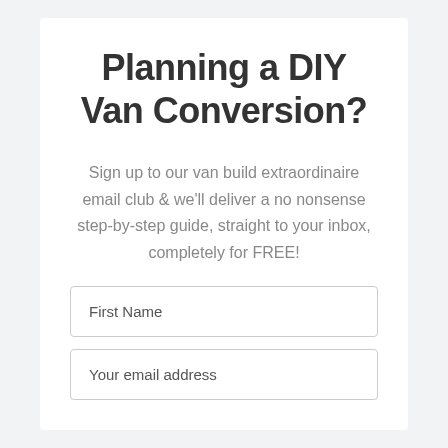Planning a DIY Van Conversion?
Sign up to our van build extraordinaire email club & we'll deliver a no nonsense step-by-step guide, straight to your inbox, completely for FREE!
First Name
Your email address